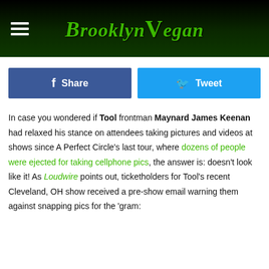Brooklyn Vegan
Share   Tweet
In case you wondered if Tool frontman Maynard James Keenan had relaxed his stance on attendees taking pictures and videos at shows since A Perfect Circle's last tour, where dozens of people were ejected for taking cellphone pics, the answer is: doesn't look like it! As Loudwire points out, ticketholders for Tool's recent Cleveland, OH show received a pre-show email warning them against snapping pics for the 'gram: